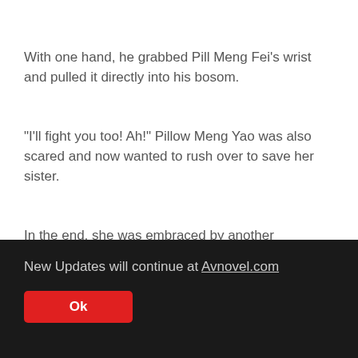With one hand, he grabbed Pill Meng Fei's wrist and pulled it directly into his bosom.
"I'll fight you too! Ah!" Pillow Meng Yao was also scared and now wanted to rush over to save her sister.
In the end, she was embraced by another Zhuangjia Valley male.
New Updates will continue at Avnovel.com
Ok